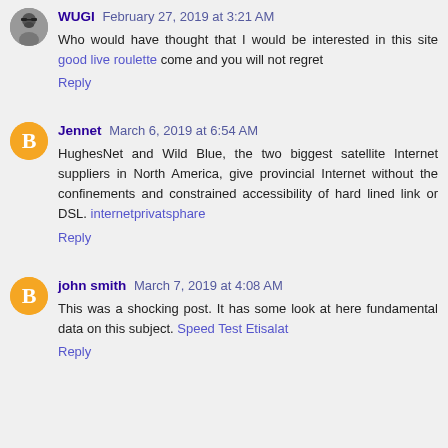WUGI February 27, 2019 at 3:21 AM
Who would have thought that I would be interested in this site good live roulette come and you will not regret
Reply
Jennet March 6, 2019 at 6:54 AM
HughesNet and Wild Blue, the two biggest satellite Internet suppliers in North America, give provincial Internet without the confinements and constrained accessibility of hard lined link or DSL. internetprivatsphare
Reply
john smith March 7, 2019 at 4:08 AM
This was a shocking post. It has some look at here fundamental data on this subject. Speed Test Etisalat
Reply